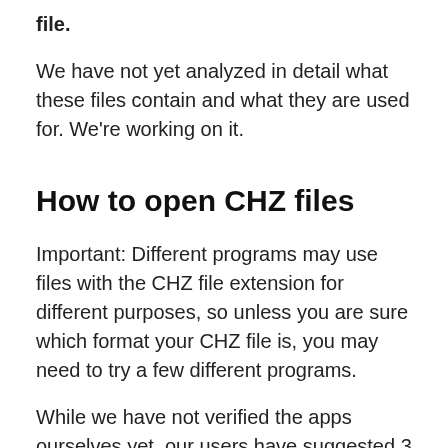file.
We have not yet analyzed in detail what these files contain and what they are used for. We're working on it.
How to open CHZ files
Important: Different programs may use files with the CHZ file extension for different purposes, so unless you are sure which format your CHZ file is, you may need to try a few different programs.
While we have not verified the apps ourselves yet, our users have suggested 3 different CHZ openers which you will find listed below.